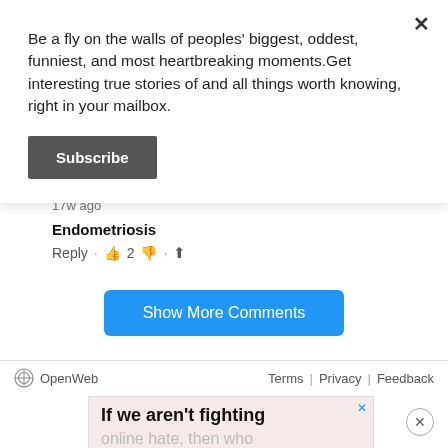Be a fly on the walls of peoples' biggest, oddest, funniest, and most heartbreaking moments.Get interesting true stories of and all things worth knowing, right in your mailbox.
Subscribe
17w ago
Endometriosis
Reply · 👍 2 👎 · ⬆
Show More Comments
OpenWeb
Terms | Privacy | Feedback
[Figure (screenshot): Advertisement banner with text: If we aren't fighting online hate, then who are the real trolls?]